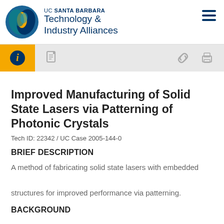UC SANTA BARBARA Technology & Industry Alliances
Improved Manufacturing of Solid State Lasers via Patterning of Photonic Crystals
Tech ID: 22342 / UC Case 2005-144-0
BRIEF DESCRIPTION
A method of fabricating solid state lasers with embedded structures for improved performance via patterning.
BACKGROUND